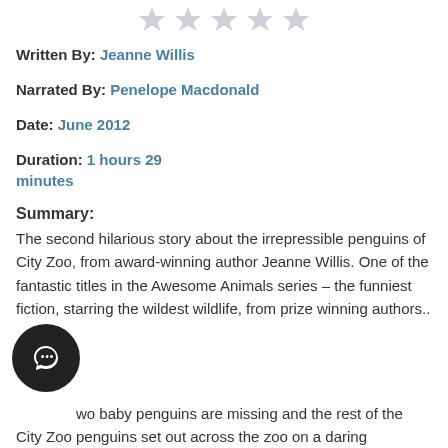[Figure (other): Five empty gray star rating icons in a row]
Written By: Jeanne Willis
Narrated By: Penelope Macdonald
Date: June 2012
Duration: 1 hours 29 minutes
Summary:
The second hilarious story about the irrepressible penguins of City Zoo, from award-winning author Jeanne Willis. One of the fantastic titles in the Awesome Animals series – the funniest fiction, starring the wildest wildlife, from prize winning authors..
...wo baby penguins are missing and the rest of the City Zoo penguins set out across the zoo on a daring